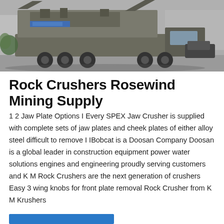[Figure (photo): A large mobile rock crushing machine on a flatbed truck, photographed in an industrial yard area. The machine has heavy conveyor belts and crushing equipment mounted on the truck chassis.]
Rock Crushers Rosewind Mining Supply
1 2 Jaw Plate Options I Every SPEX Jaw Crusher is supplied with complete sets of jaw plates and cheek plates of either alloy steel difficult to remove I IBobcat is a Doosan Company Doosan is a global leader in construction equipment power water solutions engines and engineering proudly serving customers and K M Rock Crushers are the next generation of crushers Easy 3 wing knobs for front plate removal Rock Crusher from K M Krushers